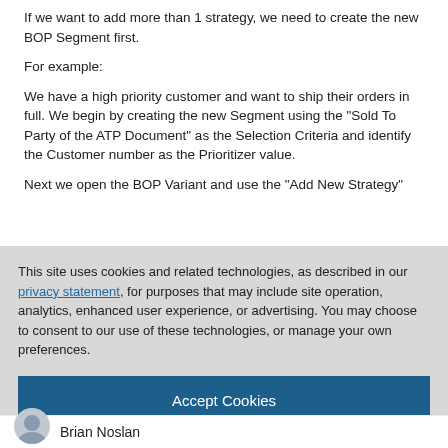If we want to add more than 1 strategy, we need to create the new BOP Segment first.
For example:
We have a high priority customer and want to ship their orders in full. We begin by creating the new Segment using the "Sold To Party of the ATP Document" as the Selection Criteria and identify the Customer number as the Prioritizer value.
Next we open the BOP Variant and use the "Add New Strategy"
This site uses cookies and related technologies, as described in our privacy statement, for purposes that may include site operation, analytics, enhanced user experience, or advertising. You may choose to consent to our use of these technologies, or manage your own preferences.
Accept Cookies
More Information
Privacy Policy | Powered by: TrustArc
Brian Noslan